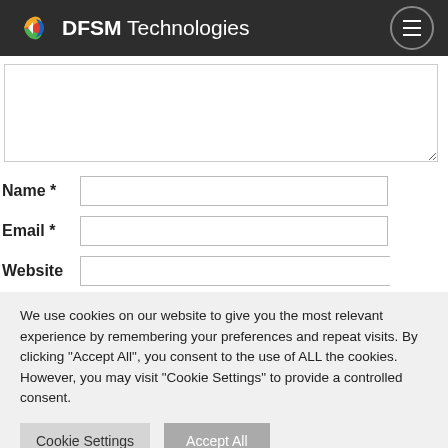DFSM Technologies
[Figure (screenshot): Textarea form field (comment box) partially visible]
Name *
Email *
Website
We use cookies on our website to give you the most relevant experience by remembering your preferences and repeat visits. By clicking "Accept All", you consent to the use of ALL the cookies. However, you may visit "Cookie Settings" to provide a controlled consent.
Cookie Settings
Accept All